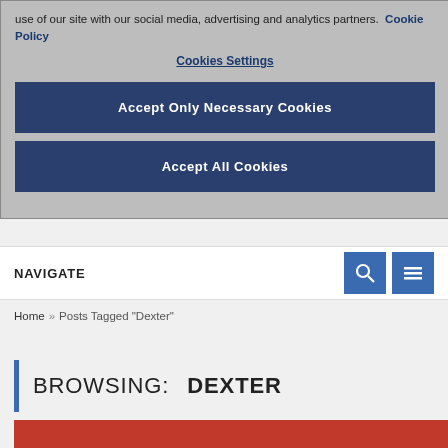use of our site with our social media, advertising and analytics partners. Cookie Policy
Cookies Settings
Accept Only Necessary Cookies
Accept All Cookies
NAVIGATE
Home » Posts Tagged "Dexter"
BROWSING:   DEXTER
DIGITAL